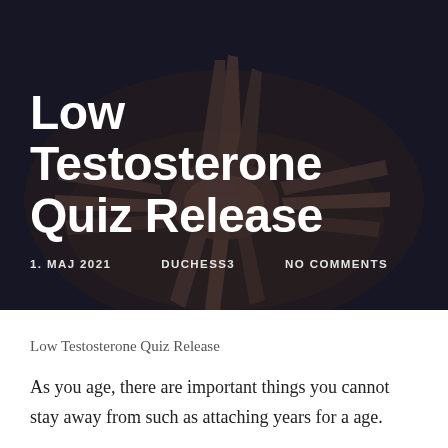[Figure (photo): Dark-toned photo of multiple hands stacked together in a team huddle, with blue wristbands visible. Serves as hero/banner image background.]
Low Testosterone Quiz Release
1. MAJ 2021   DUCHESS3   NO COMMENTS
Low Testosterone Quiz Release
As you age, there are important things you cannot stay away from such as attaching years for a age.